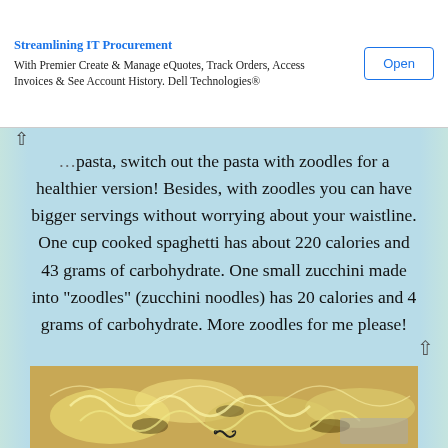Streamlining IT Procurement — With Premier Create & Manage eQuotes, Track Orders, Access Invoices & See Account History. Dell Technologies®  [Open]
pasta, switch out the pasta with zoodles for a healthier version! Besides, with zoodles you can have bigger servings without worrying about your waistline. One cup cooked spaghetti has about 220 calories and 43 grams of carbohydrate. One small zucchini made into "zoodles" (zucchini noodles) has 20 calories and 4 grams of carbohydrate. More zoodles for me please!
[Figure (photo): Photo of zucchini noodles (zoodles) — light yellow spiralized zucchini with some darker charred bits, appetizing food photo]